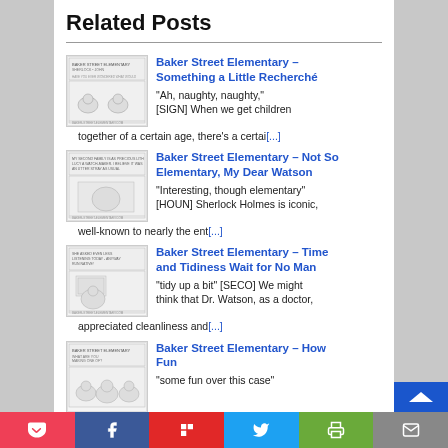Related Posts
[Figure (illustration): Thumbnail comic strip image for Baker Street Elementary - Something a Little Recherché]
Baker Street Elementary – Something a Little Recherché
"Ah, naughty, naughty," [SIGN] When we get children together of a certain age, there's a certai[...]
[Figure (illustration): Thumbnail comic strip image for Baker Street Elementary - Not So Elementary, My Dear Watson]
Baker Street Elementary – Not So Elementary, My Dear Watson
"Interesting, though elementary" [HOUN] Sherlock Holmes is iconic, well-known to nearly the ent[...]
[Figure (illustration): Thumbnail comic strip image for Baker Street Elementary - Time and Tidiness Wait for No Man]
Baker Street Elementary – Time and Tidiness Wait for No Man
"tidy up a bit" [SECO] We might think that Dr. Watson, as a doctor, appreciated cleanliness and[...]
[Figure (illustration): Thumbnail comic strip image for Baker Street Elementary - How Fun]
Baker Street Elementary – How Fun
"some fun over this case"
Pocket | Facebook | Flipboard | Twitter | Print | Email